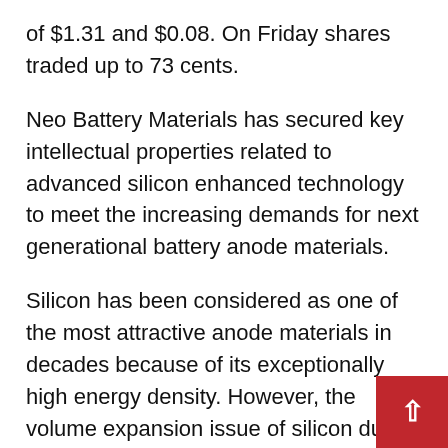of $1.31 and $0.08. On Friday shares traded up to 73 cents.
Neo Battery Materials has secured key intellectual properties related to advanced silicon enhanced technology to meet the increasing demands for next generational battery anode materials.
Silicon has been considered as one of the most attractive anode materials in decades because of its exceptionally high energy density. However, the volume expansion issue of silicon during lithiation has been the main obstacle for the industry to adopt the technology.
Lithiation refers to the process by which a lithium atom replaces a hydrogen atom in an organic molecule. The resulting molecule is described a[s an] organolithium compound